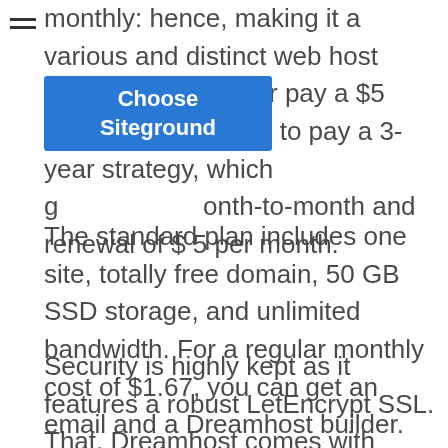monthly: hence, making it a various and distinct web host company. You either pay a $5 signup [Choose Siteground] de to pay a 3-year strategy, which g...p...onth-to-month and renewal of $ 5 per month.
The standard plan includes one site, totally free domain, 50 GB SSD storage, and unlimited bandwidth. For a regular monthly cost of $1.67, you can get an email and a Dreamhost builder.
Security is highly kept as it features a robust LetEncrypt SSL. That, Dreamhost comes with unlimited data transfer strategy month-to-month and different domain management tools.